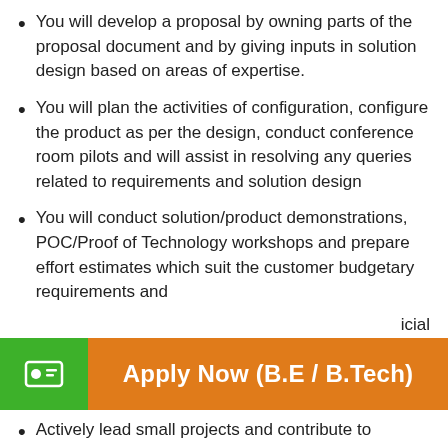You will develop a proposal by owning parts of the proposal document and by giving inputs in solution design based on areas of expertise.
You will plan the activities of configuration, configure the product as per the design, conduct conference room pilots and will assist in resolving any queries related to requirements and solution design
You will conduct solution/product demonstrations, POC/Proof of Technology workshops and prepare effort estimates which suit the customer budgetary requirements and [financial]
[Figure (other): Orange and green Apply Now button banner with business card icon. Text reads: Apply Now (B.E / B.Tech)]
Actively lead small projects and contribute to